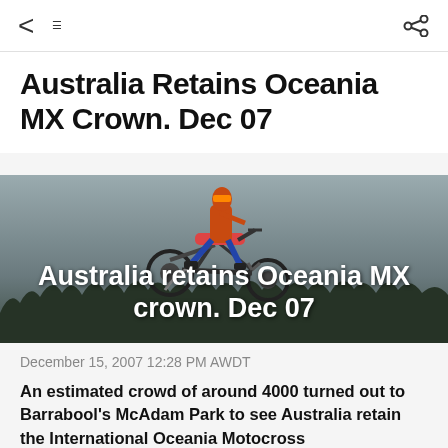< ≡   share
Australia Retains Oceania MX Crown. Dec 07
[Figure (photo): Motocross rider on a yellow dirt bike mid-air against a grey sky, with dark tree line at bottom. Overlaid white text reads: Australia retains Oceania MX crown. Dec 07]
December 15, 2007 12:28 PM AWDT
An estimated crowd of around 4000 turned out to Barrabool's McAdam Park to see Australia retain the International Oceania Motocross Championship.
Josh Coppins from New Zealand dominated the Pro Open section, but it was Australia which retained its title at the event, which also helped to raise valuable funds for the bid...